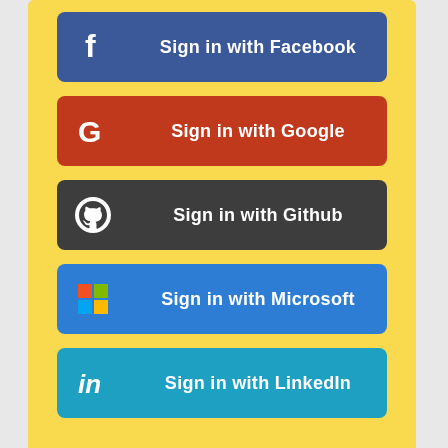[Figure (screenshot): Social sign-in buttons on yellow background: Sign in with Facebook (blue), Sign in with Google (red), Sign in with Github (dark grey), Sign in with Microsoft (blue), Sign in with LinkedIn (teal/cyan)]
Recent Posts
[Figure (screenshot): Video player UI on black background showing a circular avatar photo of a man, text 'New Ionic 5 A...', a playlist icon, and a three-dot menu icon]